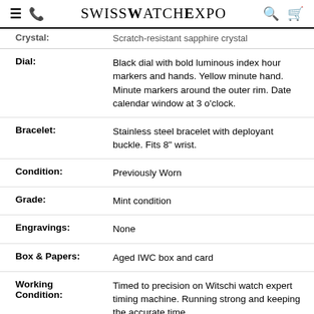SwissWatchExpo
| Attribute | Value |
| --- | --- |
| Crystal: | Scratch-resistant sapphire crystal |
| Dial: | Black dial with bold luminous index hour markers and hands. Yellow minute hand. Minute markers around the outer rim. Date calendar window at 3 o'clock. |
| Bracelet: | Stainless steel bracelet with deployant buckle. Fits 8" wrist. |
| Condition: | Previously Worn |
| Grade: | Mint condition |
| Engravings: | None |
| Box & Papers: | Aged IWC box and card |
| Working Condition: | Timed to precision on Witschi watch expert timing machine. Running strong and keeping the accurate time. |
| Authenticity: | 100% authentic |
| Warranty: | The watch is covered by |